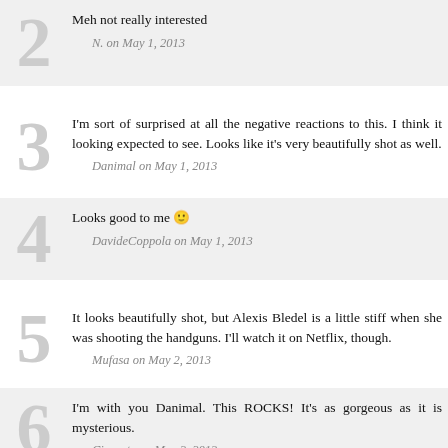2
Meh not really interested
N. on May 1, 2013
3
I'm sort of surprised at all the negative reactions to this. I think it looked like exactly what I expected to see. Looks like it's very beautifully shot as well.
Danimal on May 1, 2013
4
Looks good to me 🙂
DavideCoppola on May 1, 2013
5
It looks beautifully shot, but Alexis Bledel is a little stiff when she was shooting the handguns. I'll watch it on Netflix, though.
Mufasa on May 2, 2013
6
I'm with you Danimal. This ROCKS! It's as gorgeous as it is mysterious.
Cineaste on May 2, 2013